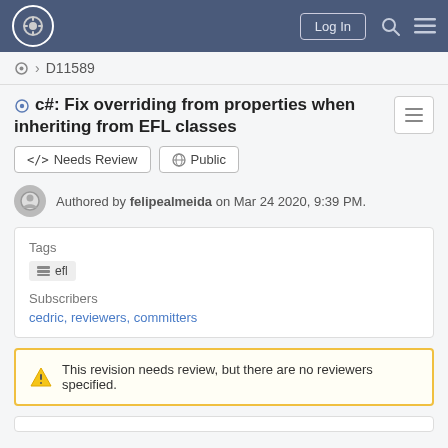Log In
⚙ > D11589
c#: Fix overriding from properties when inheriting from EFL classes
</> Needs Review   🌐 Public
Authored by felipealmeida on Mar 24 2020, 9:39 PM.
Tags
efl
Subscribers
cedric, reviewers, committers
This revision needs review, but there are no reviewers specified.